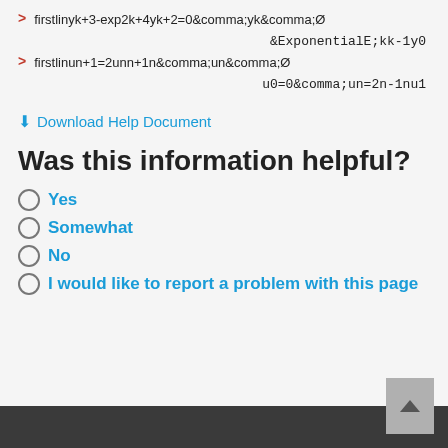⬇ Download Help Document
Was this information helpful?
Yes
Somewhat
No
I would like to report a problem with this page